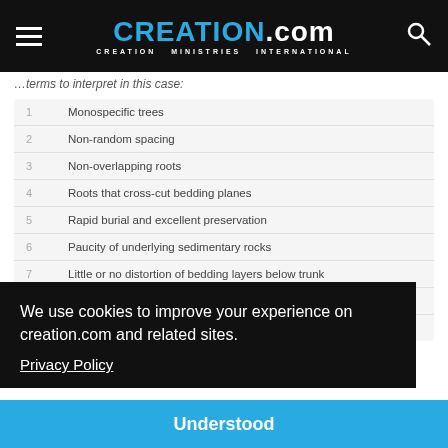CREATION.com — CREATION MINISTRIES INTERNATIONAL
…terms to interpret in this case:
| # | Item |
| --- | --- |
| 1 | Monospecific trees |
| 2 | Non-random spacing |
| 3 | Non-overlapping roots |
| 4 | Roots that cross-cut bedding planes |
| 5 | Rapid burial and excellent preservation |
| 6 | Paucity of underlying sedimentary rocks |
| 7 | Little or no distortion of bedding layers below trunk |
| 8 | Mixture of vegetation |
| 9 | Lack of root truncation |
We use cookies to improve your experience on creation.com and related sites.
Privacy Policy
Understood
The Florissant redwood stumps would be interpreted as